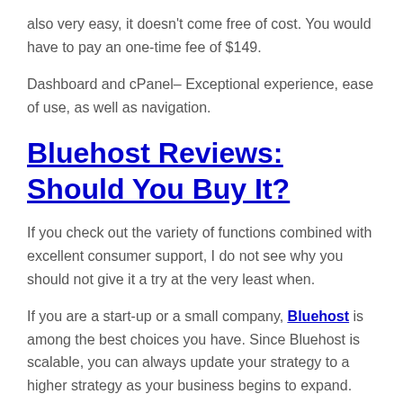also very easy, it doesn't come free of cost. You would have to pay an one-time fee of $149.
Dashboard and cPanel– Exceptional experience, ease of use, as well as navigation.
Bluehost Reviews: Should You Buy It?
If you check out the variety of functions combined with excellent consumer support, I do not see why you should not give it a try at the very least when.
If you are a start-up or a small company, Bluehost is among the best choices you have. Since Bluehost is scalable, you can always update your strategy to a higher strategy as your business begins to expand.